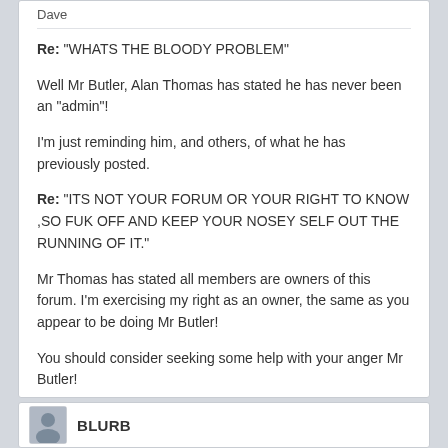Dave
Re: "WHATS THE BLOODY PROBLEM"

Well Mr Butler, Alan Thomas has stated he has never been an "admin"!

I'm just reminding him, and others, of what he has previously posted.

Re: "ITS NOT YOUR FORUM OR YOUR RIGHT TO KNOW ,SO FUK OFF AND KEEP YOUR NOSEY SELF OUT THE RUNNING OF IT."

Mr Thomas has stated all members are owners of this forum. I'm exercising my right as an owner, the same as you appear to be doing Mr Butler!

You should consider seeking some help with your anger Mr Butler!

Yelling and swearing only makes you look desperate, and an idiot!
BLURB